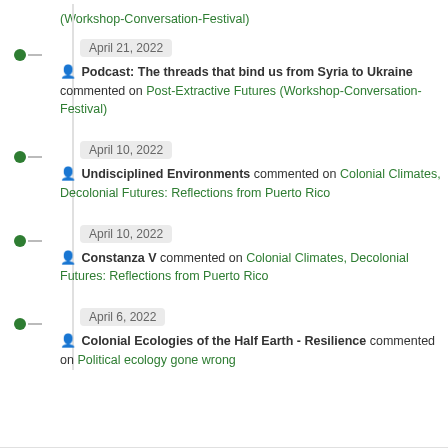(Workshop-Conversation-Festival)
April 21, 2022 — Podcast: The threads that bind us from Syria to Ukraine commented on Post-Extractive Futures (Workshop-Conversation-Festival)
April 10, 2022 — Undisciplined Environments commented on Colonial Climates, Decolonial Futures: Reflections from Puerto Rico
April 10, 2022 — Constanza V commented on Colonial Climates, Decolonial Futures: Reflections from Puerto Rico
April 6, 2022 — Colonial Ecologies of the Half Earth - Resilience commented on Political ecology gone wrong